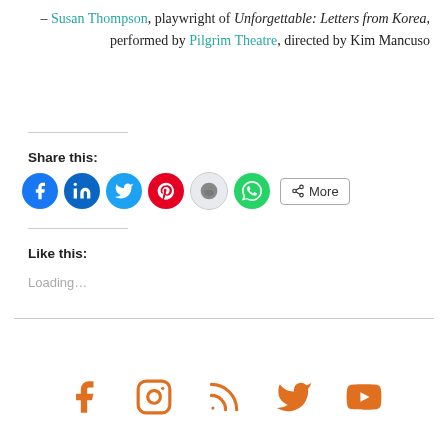– Susan Thompson, playwright of Unforgettable: Letters from Korea, performed by Pilgrim Theatre, directed by Kim Mancuso
Share this:
[Figure (infographic): Social share buttons: Facebook, LinkedIn, Twitter, Pinterest, Reddit, WhatsApp, and a More button]
Like this:
Loading...
[Figure (infographic): Footer social media icons: Facebook, Instagram, RSS feed, Twitter, YouTube — all in orange]